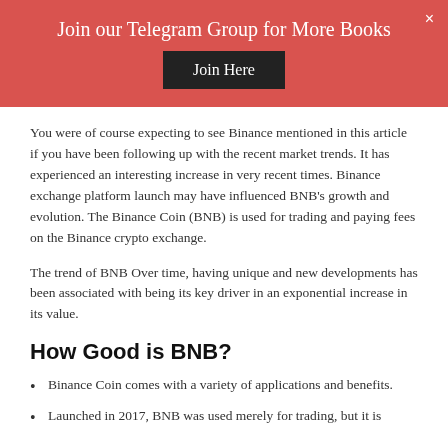Join our Telegram Group for More Books
Join Here
You were of course expecting to see Binance mentioned in this article if you have been following up with the recent market trends. It has experienced an interesting increase in very recent times. Binance exchange platform launch may have influenced BNB’s growth and evolution. The Binance Coin (BNB) is used for trading and paying fees on the Binance crypto exchange.
The trend of BNB Over time, having unique and new developments has been associated with being its key driver in an exponential increase in its value.
How Good is BNB?
Binance Coin comes with a variety of applications and benefits.
Launched in 2017, BNB was used merely for trading, but it is